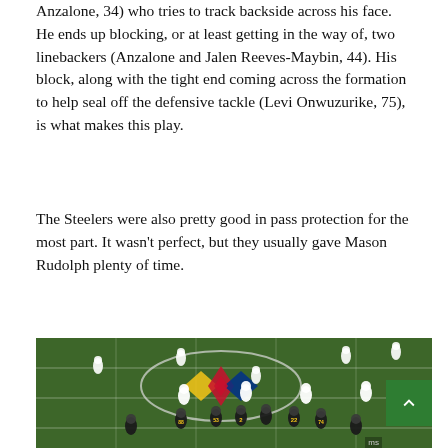Anzalone, 34) who tries to track backside across his face. He ends up blocking, or at least getting in the way of, two linebackers (Anzalone and Jalen Reeves-Maybin, 44). His block, along with the tight end coming across the formation to help seal off the defensive tackle (Levi Onwuzurike, 75), is what makes this play.
The Steelers were also pretty good in pass protection for the most part. It wasn't perfect, but they usually gave Mason Rudolph plenty of time.
[Figure (photo): Aerial view of a football game showing the Pittsburgh Steelers on the field with the Steelers logo (yellow, red, and blue) visible on the turf. Players in white (Buffalo Bills) and black/gold (Pittsburgh Steelers) uniforms are lined up at the line of scrimmage.]